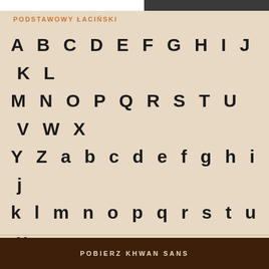PODSTAWOWY ŁACIŃSKI
A B C D E F G H I J K L M N O P Q R S T U V W X Y Z a b c d e f g h i j k l m n o p q r s t u v w x y z 1 2 3 4 5 6 7 8 9 0 & @ . , ? ! ' " “ ( ) *
POBIERZ KHWAN SANS